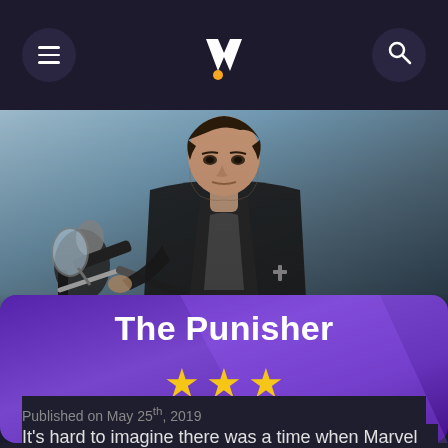Navigation header with hamburger menu, logo, and search icon
[Figure (photo): A man in a dark leather jacket leaning on a motorcycle, moody blue-grey background, appears to be a promotional movie still for The Punisher]
The Punisher
★★★ (3 stars out of 5)
Published on May 25th, 2019
It's hard to imagine there was a time when Marvel